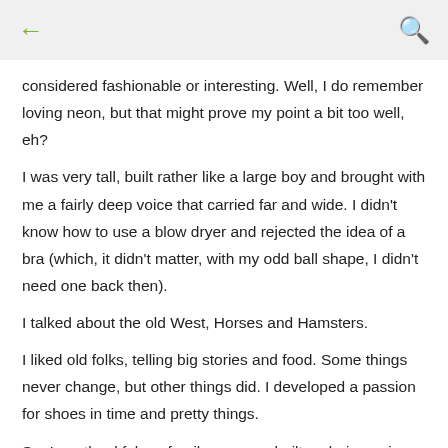← [back] | [search]
considered fashionable or interesting. Well, I do remember loving neon, but that might prove my point a bit too well, eh?
I was very tall, built rather like a large boy and brought with me a fairly deep voice that carried far and wide. I didn't know how to use a blow dryer and rejected the idea of a bra (which, it didn't matter, with my odd ball shape, I didn't need one back then).
I talked about the old West, Horses and Hamsters.
I liked old folks, telling big stories and food. Some things never change, but other things did. I developed a passion for shoes in time and pretty things.
So, I am thankful my family was one built on being unique and individual...